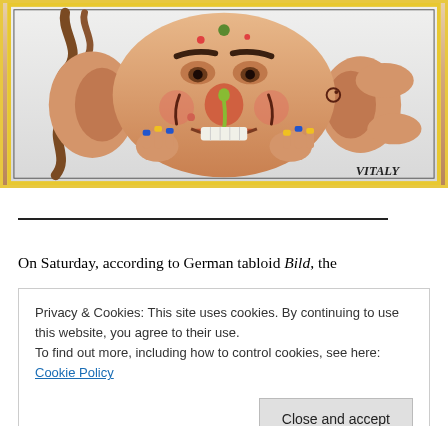[Figure (illustration): Political cartoon/caricature of a distressed face with exaggerated features, holding hands with blue and yellow painted fingernails (Ukrainian flag colors), looking sick/upset. Brown wavy shapes on left, large ears on right. Signed 'VITALY' in lower right. Bordered with yellow/gold frame.]
On Saturday, according to German tabloid Bild, the
Privacy & Cookies: This site uses cookies. By continuing to use this website, you agree to their use.
To find out more, including how to control cookies, see here: Cookie Policy
Close and accept
...